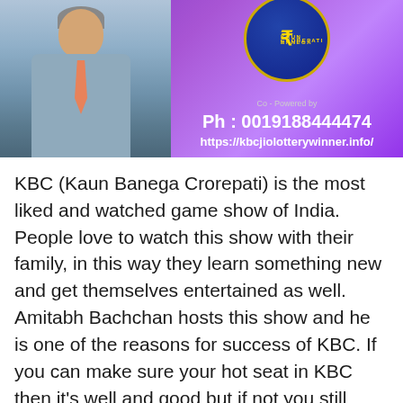[Figure (photo): KBC (Kaun Banega Crorepati) promotional banner showing Amitabh Bachchan in a grey suit on the left against a blue-grey background, and a purple background on the right with the KBC circular logo (gold border, dark blue with rupee symbol), text 'Co-Powered by', phone number 'Ph: 0019188444474', and website URL 'https://kbcjiolotterywinner.info/']
KBC (Kaun Banega Crorepati) is the most liked and watched game show of India. People love to watch this show with their family, in this way they learn something new and get themselves entertained as well. Amitabh Bachchan hosts this show and he is one of the reasons for success of KBC. If you can make sure your hot seat in KBC then it's well and good but if not you still don't have to worry. Because has KBC also has started a new lottery system for their